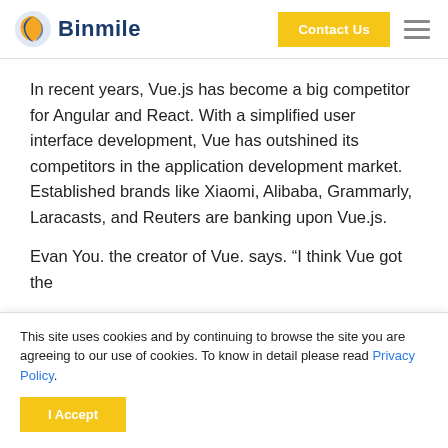Binmile | Contact Us
In recent years, Vue.js has become a big competitor for Angular and React. With a simplified user interface development, Vue has outshined its competitors in the application development market. Established brands like Xiaomi, Alibaba, Grammarly, Laracasts, and Reuters are banking upon Vue.js.
Evan You. the creator of Vue. says. “I think Vue got the
This site uses cookies and by continuing to browse the site you are agreeing to our use of cookies. To know in detail please read Privacy Policy.
I Accept